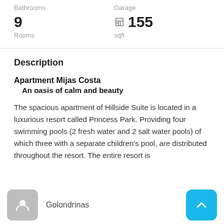Bathrooms
Garage
9
Rooms
155 sqft
Description
Apartment Mijas Costa
An oasis of calm and beauty
The spacious apartment of Hillside Suite is located in a luxurious resort called Princess Park. Providing four swimming pools (2 fresh water and 2 salt water pools) of which three with a separate children's pool, are distributed throughout the resort. The entire resort is
Golondrinas